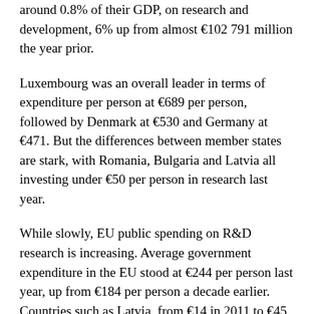around 0.8% of their GDP, on research and development, 6% up from almost €102 791 million the year prior.
Luxembourg was an overall leader in terms of expenditure per person at €689 per person, followed by Denmark at €530 and Germany at €471. But the differences between member states are stark, with Romania, Bulgaria and Latvia all investing under €50 per person in research last year.
While slowly, EU public spending on R&D research is increasing. Average government expenditure in the EU stood at €244 per person last year, up from €184 per person a decade earlier. Countries such as Latvia, from €14 in 2011 to €45 in 2021, Greece from €58 to €152.
The data published by Eurostat today is preliminary and will be updated in January 2023 but it gives a glimpse at the changing R&D funding landscape. In 2020, EU